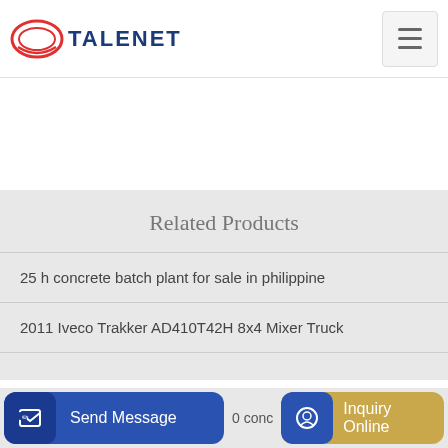TALENET
Related Products
25 h concrete batch plant for sale in philippine
2011 Iveco Trakker AD410T42H 8x4 Mixer Truck
0 conc
Send Message
Inquiry Online